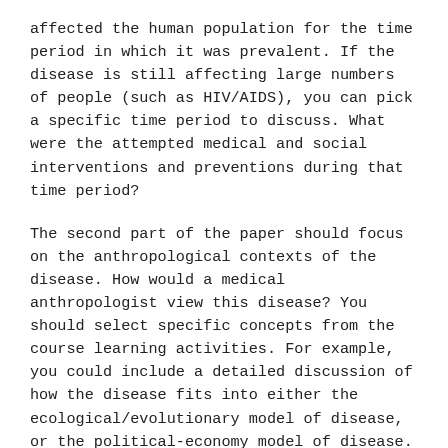affected the human population for the time period in which it was prevalent. If the disease is still affecting large numbers of people (such as HIV/AIDS), you can pick a specific time period to discuss. What were the attempted medical and social interventions and preventions during that time period?
The second part of the paper should focus on the anthropological contexts of the disease. How would a medical anthropologist view this disease? You should select specific concepts from the course learning activities. For example, you could include a detailed discussion of how the disease fits into either the ecological/evolutionary model of disease, or the political-economy model of disease. You could discuss it from a global health viewpoint, or from a structural violence viewpoint. You could bring in concepts such as stigma, or social inequalities. Make